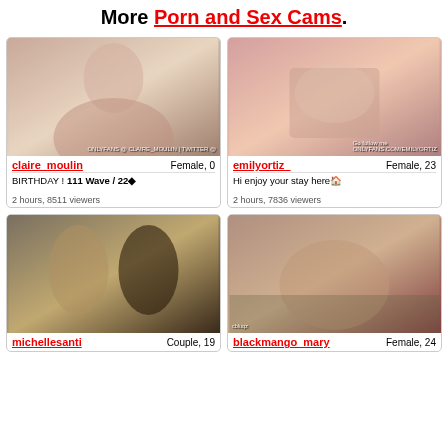More Porn and Sex Cams.
[Figure (photo): Thumbnail photo of claire_moulin]
claire_moulin   Female, 0
BIRTHDAY ! 111 Wave / 22◆
2 hours, 8511 viewers
[Figure (photo): Thumbnail photo of emilyortiz_]
emilyortiz_   Female, 23
Hi enjoy your stay here🏠
2 hours, 7836 viewers
[Figure (photo): Thumbnail photo of michellesanti]
michellesanti   Couple, 19
[Figure (photo): Thumbnail photo of blackmango_mary]
blackmango_mary   Female, 24